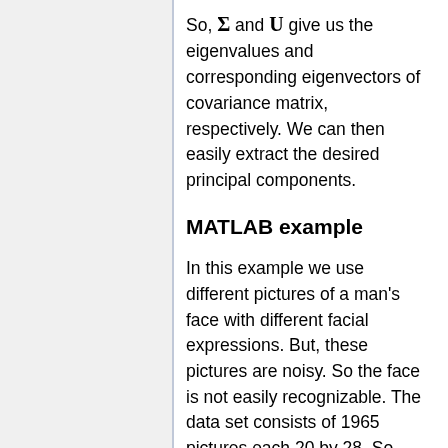So, Σ and U give us the eigenvalues and corresponding eigenvectors of covariance matrix, respectively. We can then easily extract the desired principal components.
MATLAB example
In this example we use different pictures of a man's face with different facial expressions. But, these pictures are noisy. So the face is not easily recognizable. The data set consists of 1965 pictures each 20 by 28. So dimensionality is 20*28= 560.
Our goal is to remove noise using PCA and of course by means of SVD function in matlab. We know that noise is not the main feature that makes these pictures look different, so noise is among least